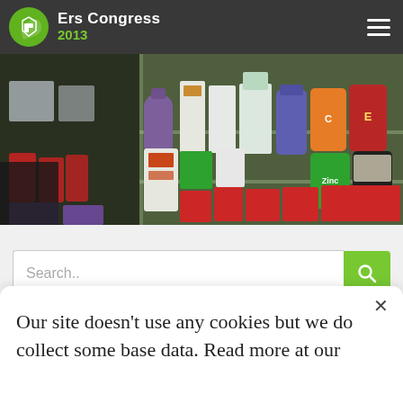Ers Congress 2013
[Figure (photo): Pharmacy shelves with various medicine bottles, supplement jars (Vitamin C, Vitamin E, Zinc), and medication boxes displayed behind glass.]
Search..
Our site doesn't use any cookies but we do collect some base data. Read more at our